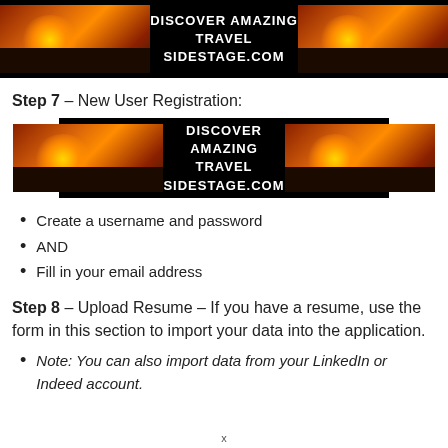[Figure (other): Advertisement banner: two sunset landscape photos flanking centered bold text 'DISCOVER AMAZING TRAVEL SIDESTAGE.COM' on black background]
Step 7 – New User Registration:
[Figure (other): Advertisement banner: two sunset landscape photos flanking centered bold text 'DISCOVER AMAZING TRAVEL SIDESTAGE.COM' on black background]
Create a username and password
AND
Fill in your email address
Step 8 – Upload Resume – If you have a resume, use the form in this section to import your data into the application.
Note: You can also import data from your LinkedIn or Indeed account.
x